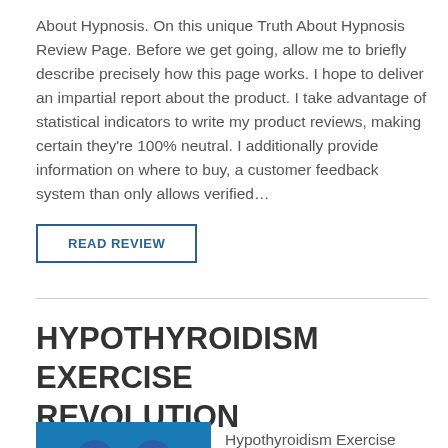About Hypnosis. On this unique Truth About Hypnosis Review Page. Before we get going, allow me to briefly describe precisely how this page works. I hope to deliver an impartial report about the product. I take advantage of statistical indicators to write my product reviews, making certain they're 100% neutral. I additionally provide information on where to buy, a customer feedback system than only allows verified…
READ REVIEW
HYPOTHYROIDISM EXERCISE REVOLUTION
[Figure (illustration): Blue banner image showing two speech bubble icons (thumbs up and person-plus icon) above a row of five yellow stars, used as a product review thumbnail.]
Hypothyroidism Exercise Revolution Review: Welcome to